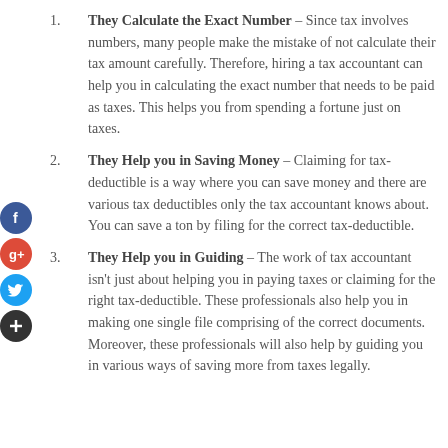They Calculate the Exact Number – Since tax involves numbers, many people make the mistake of not calculate their tax amount carefully. Therefore, hiring a tax accountant can help you in calculating the exact number that needs to be paid as taxes. This helps you from spending a fortune just on taxes.
They Help you in Saving Money – Claiming for tax-deductible is a way where you can save money and there are various tax deductibles only the tax accountant knows about. You can save a ton by filing for the correct tax-deductible.
They Help you in Guiding – The work of tax accountant isn't just about helping you in paying taxes or claiming for the right tax-deductible. These professionals also help you in making one single file comprising of the correct documents. Moreover, these professionals will also help by guiding you in various ways of saving more from taxes legally.